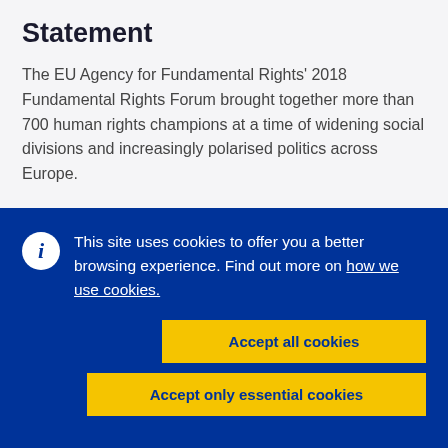Statement
The EU Agency for Fundamental Rights' 2018 Fundamental Rights Forum brought together more than 700 human rights champions at a time of widening social divisions and increasingly polarised politics across Europe.
This site uses cookies to offer you a better browsing experience. Find out more on how we use cookies.
Accept all cookies
Accept only essential cookies